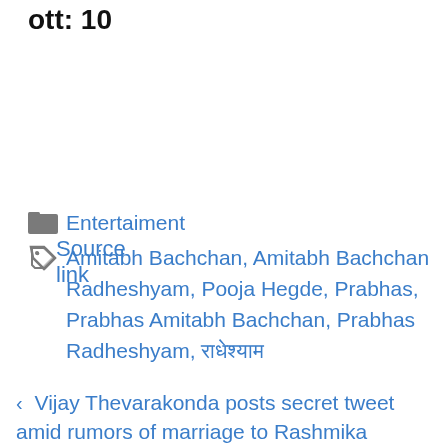ott: 10
Source link
Entertaiment
Amitabh Bachchan, Amitabh Bachchan Radheshyam, Pooja Hegde, Prabhas, Prabhas Amitabh Bachchan, Prabhas Radheshyam, राधेश्याम
< Vijay Thevarakonda posts secret tweet amid rumors of marriage to Rashmika